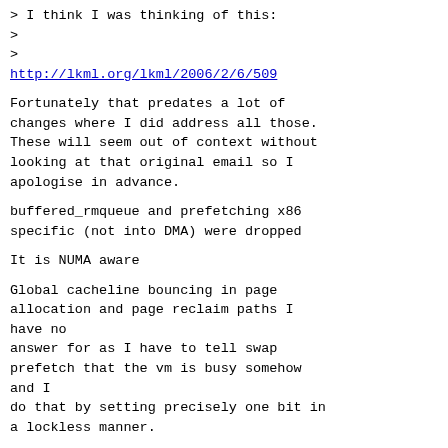> I think I was thinking of this:
>
>
http://lkml.org/lkml/2006/2/6/509
Fortunately that predates a lot of changes where I did address all those. These will seem out of context without looking at that original email so I apologise in advance.
buffered_rmqueue and prefetching x86 specific (not into DMA) were dropped
It is NUMA aware
Global cacheline bouncing in page allocation and page reclaim paths I have no
answer for as I have to tell swap prefetch that the vm is busy somehow and I
do that by setting precisely one bit in a lockless manner.
The trylocks were dropped.
The other ideas were to :
-extend the prefetching. That's extra features